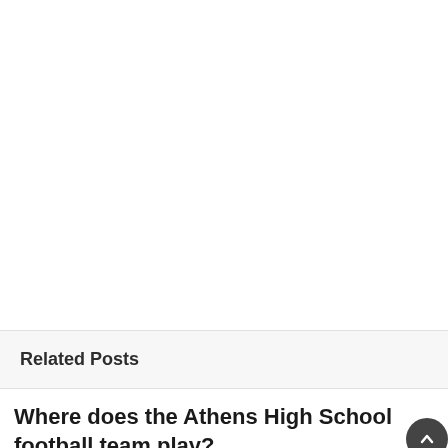Related Posts
Where does the Athens High School football team play?